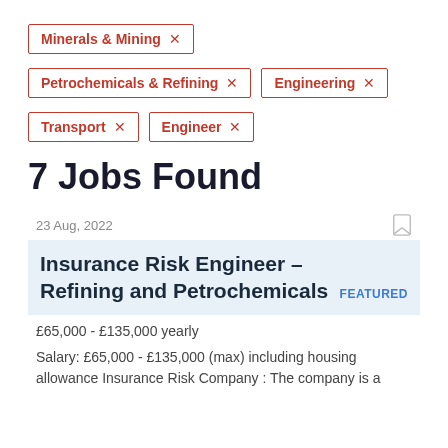Minerals & Mining ×
Petrochemicals & Refining ×
Engineering ×
Transport ×
Engineer ×
7 Jobs Found
23 Aug, 2022
Insurance Risk Engineer – Refining and Petrochemicals
FEATURED
£65,000 - £135,000 yearly
Salary: £65,000 - £135,000 (max) including housing allowance Insurance Risk Company : The company is a